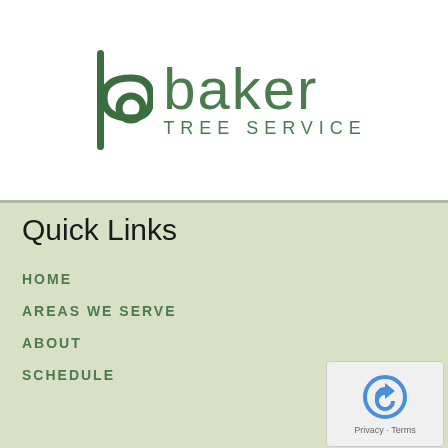[Figure (logo): Baker Tree Service logo with stylized 'b' icon and company name]
Quick Links
HOME
AREAS WE SERVE
ABOUT
SCHEDULE